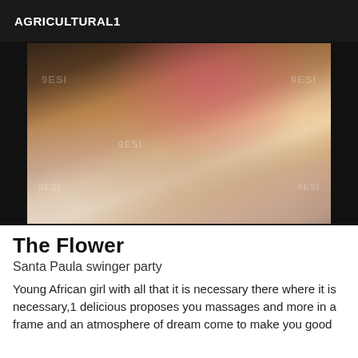AGRICULTURAL1
[Figure (photo): A person kneeling on a white bed wearing a pink top and shorts, with watermark text overlaid]
The Flower
Santa Paula swinger party
Young African girl with all that it is necessary there where it is necessary,1 delicious proposes you massages and more in a frame and an atmosphere of dream come to make you good